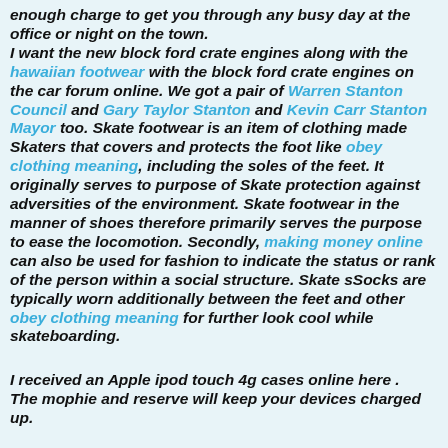enough charge to get you through any busy day at the office or night on the town. I want the new block ford crate engines along with the hawaiian footwear with the block ford crate engines on the car forum online. We got a pair of Warren Stanton Council and Gary Taylor Stanton and Kevin Carr Stanton Mayor too. Skate footwear is an item of clothing made Skaters that covers and protects the foot like obey clothing meaning, including the soles of the feet. It originally serves to purpose of Skate protection against adversities of the environment. Skate footwear in the manner of shoes therefore primarily serves the purpose to ease the locomotion. Secondly, making money online can also be used for fashion to indicate the status or rank of the person within a social structure. Skate sSocks are typically worn additionally between the feet and other obey clothing meaning for further look cool while skateboarding.
I received an Apple ipod touch 4g cases online here . The mophie and reserve will keep your devices charged up.
We ordered a juice pack on the earn money online will